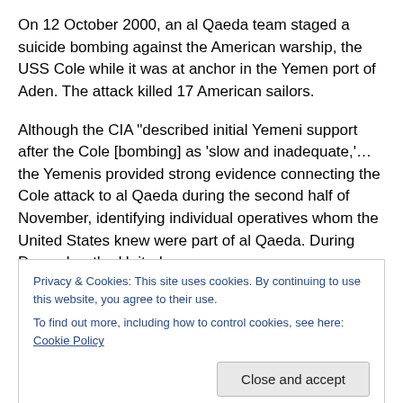On 12 October 2000, an al Qaeda team staged a suicide bombing against the American warship, the USS Cole while it was at anchor in the Yemen port of Aden. The attack killed 17 American sailors.
Although the CIA “described initial Yemeni support after the Cole [bombing] as ‘slow and inadequate,’…the Yemenis provided strong evidence connecting the Cole attack to al Qaeda during the second half of November, identifying individual operatives whom the United States knew were part of al Qaeda. During December the United
Privacy & Cookies: This site uses cookies. By continuing to use this website, you agree to their use.
To find out more, including how to control cookies, see here: Cookie Policy
Close and accept
The Yemenis arrested two of the surviving members of the